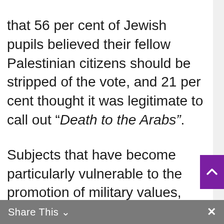that 56 per cent of Jewish pupils believed their fellow Palestinian citizens should be stripped of the vote, and 21 per cent thought it was legitimate to call out “Death to the Arabs”.

Subjects that have become particularly vulnerable to the promotion of military values, according to teachers, are Arabic, history and civics. Naftali Bennett brought in a new head of civics in July. Asaf Malach is a political ally who believes the Palestinians should not be allowed a state. A
Share This ∨  ×